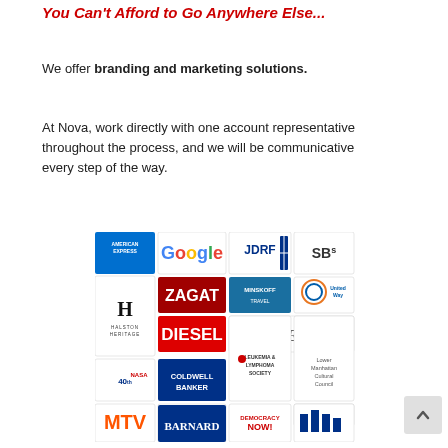You Can't Afford to Go Anywhere Else...
We offer branding and marketing solutions.
At Nova, work directly with one account representative throughout the process, and we will be communicative every step of the way.
[Figure (logo): Grid of client logos including American Express, Google, JDRF, SBs, ZAGAT, Minskoff Travel, United Way, Halston Heritage, Diesel, Shiseido, Leukemia & Lymphoma Society, Lower Manhattan Cultural Council, NASA 40th Anniversary, Coldwell Banker, Viacom, Columbia Law School, MTV Music Television, Barnard, Democracy Now!, and others.]